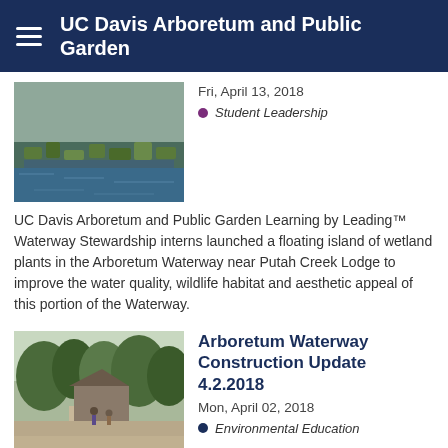UC Davis Arboretum and Public Garden
Fri, April 13, 2018
Student Leadership
[Figure (photo): Aerial or close-up view of floating island of wetland plants on the Arboretum Waterway]
UC Davis Arboretum and Public Garden Learning by Leading™ Waterway Stewardship interns launched a floating island of wetland plants in the Arboretum Waterway near Putah Creek Lodge to improve the water quality, wildlife habitat and aesthetic appeal of this portion of the Waterway.
Arboretum Waterway Construction Update 4.2.2018
Mon, April 02, 2018
Environmental Education
[Figure (photo): Path alongside the Arboretum Waterway with trees and people walking]
Now that Phase 1 of the Arboretum Waterway Maintenance and Enhancement Project is nearly finished, the paths on both sides of the waterway are open again.